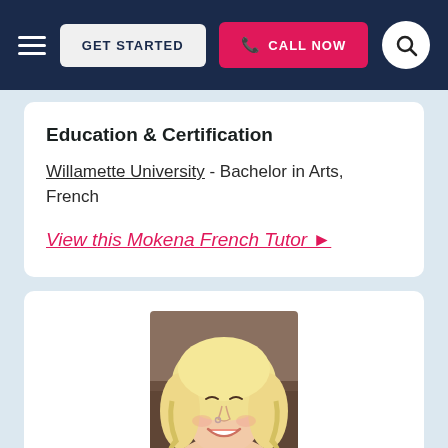GET STARTED | CALL NOW
Education & Certification
Willamette University - Bachelor in Arts, French
View this Mokena French Tutor ▶
[Figure (photo): Portrait photo of a young woman with blonde wavy hair, smiling, wearing a nose ring, taken indoors]